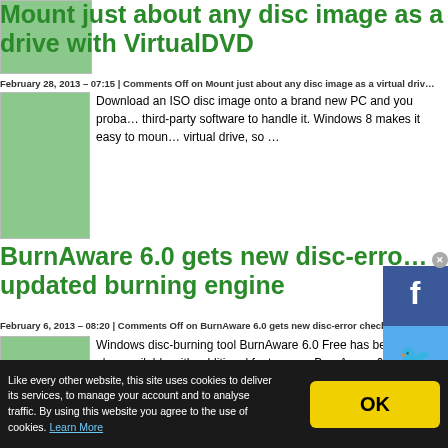[Figure (photo): Green thumbnail image for VirtualDVD article]
Mount just about any disc image as a drive with VirtualDVD
February 28, 2013 – 07:15 | Comments Off on Mount just about any disc image as a virtual drive
[Figure (photo): Green thumbnail image for VirtualDVD article body]
Download an ISO disc image onto a brand new PC and you probably need third-party software to handle it. Windows 8 makes it easy to mount as a virtual drive, so …
BurnAware 6.0 gets new disc-error checking and updated burning engine
February 6, 2013 – 08:20 | Comments Off on BurnAware 6.0 gets new disc-error check
[Figure (photo): Green thumbnail image for BurnAware article]
Windows disc-burning tool BurnAware 6.0 Free has been released. It is also available with additional features as BurnAware 6.0 Premium (Trial Edition) and BurnAware 6.0 Professional, comes with an updated b
[Figure (infographic): Social media sidebar with Facebook, Twitter, and RSS icons]
Like every other website, this site uses cookies to deliver its services, to manage your account and to analyse traffic. By using this website you agree to the use of cookies. Learn More